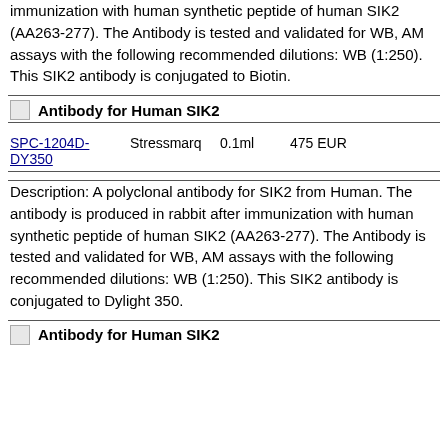immunization with human synthetic peptide of human SIK2 (AA263-277). The Antibody is tested and validated for WB, AM assays with the following recommended dilutions: WB (1:250). This SIK2 antibody is conjugated to Biotin.
[Figure (photo): Small broken image icon]
Antibody for Human SIK2
| Product ID | Supplier | Volume | Price |
| --- | --- | --- | --- |
| SPC-1204D-DY350 | Stressmarq | 0.1ml | 475 EUR |
Description: A polyclonal antibody for SIK2 from Human. The antibody is produced in rabbit after immunization with human synthetic peptide of human SIK2 (AA263-277). The Antibody is tested and validated for WB, AM assays with the following recommended dilutions: WB (1:250). This SIK2 antibody is conjugated to Dylight 350.
[Figure (photo): Small broken image icon]
Antibody for Human SIK2